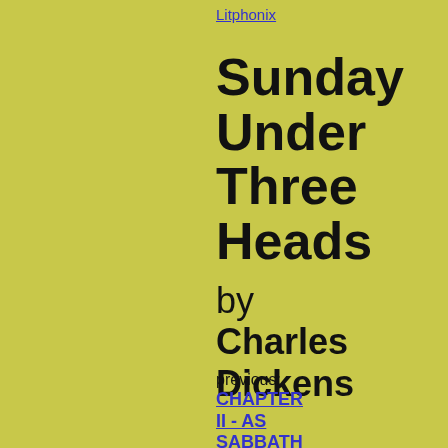Litphonix
Sunday Under Three Heads
by Charles Dickens
previous:
CHAPTER II - AS SABBATH BILLS